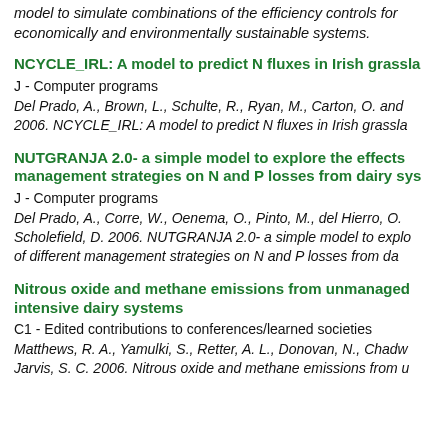model to simulate combinations of the efficiency controls for economically and environmentally sustainable systems.
NCYCLE_IRL: A model to predict N fluxes in Irish grassla
J - Computer programs
Del Prado, A., Brown, L., Schulte, R., Ryan, M., Carton, O. and 2006. NCYCLE_IRL: A model to predict N fluxes in Irish grassla
NUTGRANJA 2.0- a simple model to explore the effects management strategies on N and P losses from dairy sys
J - Computer programs
Del Prado, A., Corre, W., Oenema, O., Pinto, M., del Hierro, O. Scholefield, D. 2006. NUTGRANJA 2.0- a simple model to explo of different management strategies on N and P losses from da
Nitrous oxide and methane emissions from unmanaged intensive dairy systems
C1 - Edited contributions to conferences/learned societies
Matthews, R. A., Yamulki, S., Retter, A. L., Donovan, N., Chadw Jarvis, S. C. 2006. Nitrous oxide and methane emissions from u